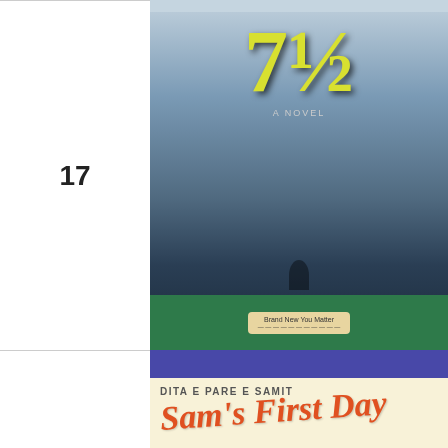17
[Figure (photo): Book cover: '7 1/2' - a novel with stormy sky background and yellow large numerals, with green band at bottom]
18
[Figure (photo): Book cover: 'Sam's First Day' (DITA E PARE E SAMIT) - children's book with cartoon boy character, purple header and footer bands, authored by David Mills and Lizzie Finlay]
19
[Figure (photo): Book cover: 'HSC Year 12 Mathematics Advanced' - white cover with blue left stripe and large geometric 'A' graphic, by Simon Meli]